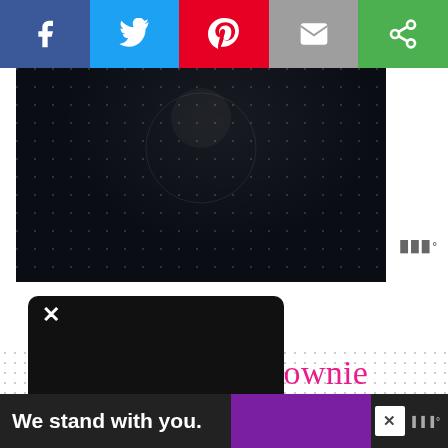[Figure (screenshot): Social share buttons bar with Facebook (blue), Twitter (light blue), Pinterest (red), Email (grey), and a green share button]
[Figure (photo): Dark hero image with speckled star-like white dots on dark navy/black background]
[Figure (illustration): Pink flower/asterisk decorative icon]
Vegan Mug Brownie
[Figure (screenshot): Black video ad overlay box with X close button, volume icon and 'Ad' label]
[Figure (screenshot): Five pink heart rating icons showing 5.0 by 4 readers]
5.0 by 4 readers
[Figure (screenshot): Scroll to top box widget]
[Figure (screenshot): Bottom banner advertisement with text 'We stand with you.' on dark background with purple section and close X button]